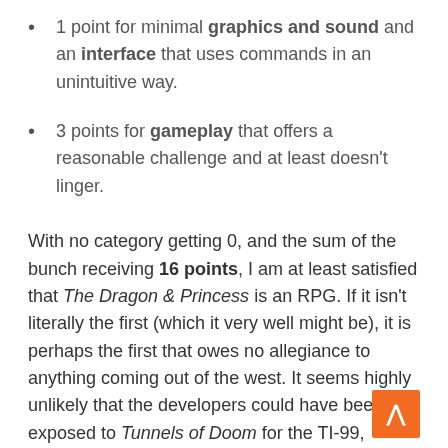1 point for minimal graphics and sound and an interface that uses commands in an unintuitive way.
3 points for gameplay that offers a reasonable challenge and at least doesn't linger.
With no category getting 0, and the sum of the bunch receiving 16 points, I am at least satisfied that The Dragon & Princess is an RPG. If it isn't literally the first (which it very well might be), it is perhaps the first that owes no allegiance to anything coming out of the west. It seems highly unlikely that the developers could have been exposed to Tunnels of Doom for the TI-99, released the same year, which means that they independently developed the type of turn-based